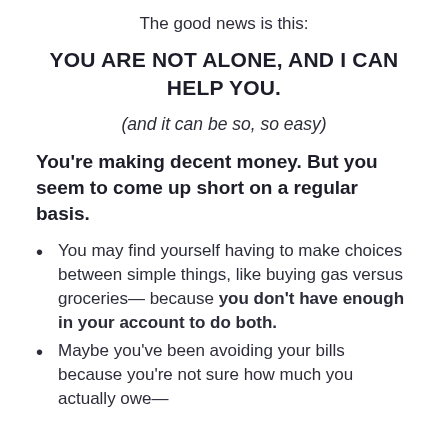The good news is this:
YOU ARE NOT ALONE, AND I CAN HELP YOU.
(and it can be so, so easy)
You're making decent money. But you seem to come up short on a regular basis.
You may find yourself having to make choices between simple things, like buying gas versus groceries— because you don't have enough in your account to do both.
Maybe you've been avoiding your bills because you're not sure how much you actually owe—